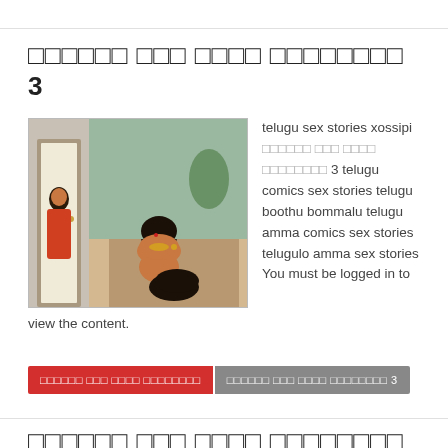□□□□□□ □□□ □□□□ □□□□□□□□ 3
[Figure (illustration): Animated/comic style illustration showing adult characters in an indoor scene]
telugu sex stories xossipi □□□□□□ □□□ □□□□ □□□□□□□□ 3 telugu comics sex stories telugu boothu bommalu telugu amma comics sex stories telugulo amma sex stories You must be logged in to view the content.
□□□□□□ □□□ □□□□ □□□□□□□□
□□□□□□ □□□ □□□□ □□□□□□□□ 3
□□□□□□ □□□ □□□□ □□□□□□□□ 2